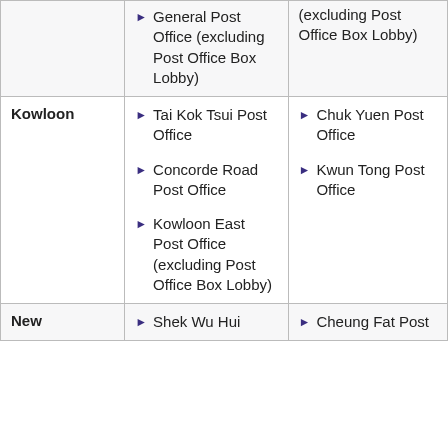| Region | Post Offices (Col 1) | Post Offices (Col 2) |
| --- | --- | --- |
|  | General Post Office (excluding Post Office Box Lobby) | (excluding Post Office Box Lobby) |
| Kowloon | Tai Kok Tsui Post Office
Concorde Road Post Office
Kowloon East Post Office (excluding Post Office Box Lobby) | Chuk Yuen Post Office
Kwun Tong Post Office |
| New | Shek Wu Hui | Cheung Fat Post |